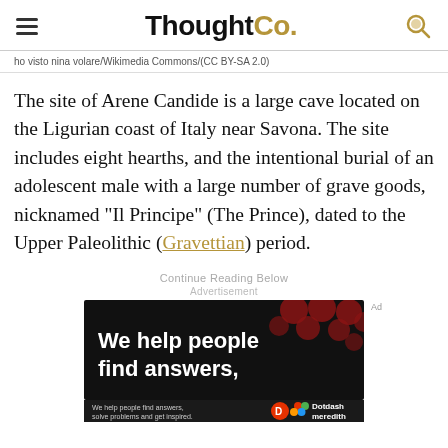ThoughtCo.
ho visto nina volare/Wikimedia Commons/(CC BY-SA 2.0)
The site of Arene Candide is a large cave located on the Ligurian coast of Italy near Savona. The site includes eight hearths, and the intentional burial of an adolescent male with a large number of grave goods, nicknamed "Il Principe" (The Prince), dated to the Upper Paleolithic (Gravettian) period.
Continue Reading Below
Advertisement
[Figure (other): Advertisement banner reading 'We help people find answers,' with Dotdash Meredith branding on dark background with bokeh dot pattern]